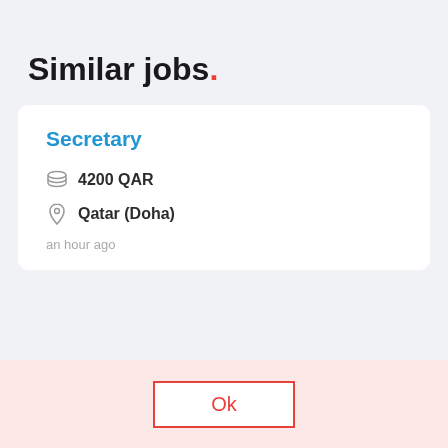Similar jobs.
Secretary
4200 QAR
Qatar (Doha)
an hour ago
By continuing to use this site, you consent to the use of cookies.
more
Ok